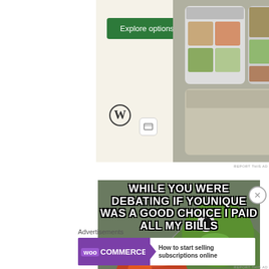[Figure (screenshot): WordPress website builder advertisement showing an 'Explore options' green button, WordPress logo, and food website screenshots on a beige background]
REPORT THIS AD
[Figure (photo): Meme image featuring Kermit the Frog drinking tea from a teacup with the text: WHILE YOU WERE DEBATING IF YOUNIQUE WAS A GOOD CHOICE I PAID ALL MY BILLS]
Advertisements
[Figure (screenshot): WooCommerce advertisement banner with purple background, WooCommerce logo, and text: How to start selling subscriptions online]